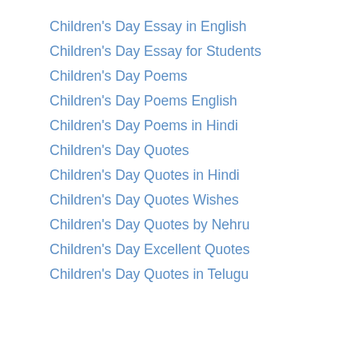Children's Day Essay in English
Children's Day Essay for Students
Children's Day Poems
Children's Day Poems English
Children's Day Poems in Hindi
Children's Day Quotes
Children's Day Quotes in Hindi
Children's Day Quotes Wishes
Children's Day Quotes by Nehru
Children's Day Excellent Quotes
Children's Day Quotes in Telugu